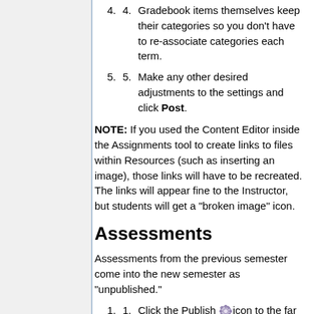Gradebook items themselves keep their categories so you don't have to re-associate categories each term.
Make any other desired adjustments to the settings and click Post.
NOTE: If you used the Content Editor inside the Assignments tool to create links to files within Resources (such as inserting an image), those links will have to be recreated. The links will appear fine to the Instructor, but students will get a "broken image" icon.
Assessments
Assessments from the previous semester come into the new semester as "unpublished."
Click the Publish icon to the far right of the Assessment Title.
Make any adjustments to the dates, settings, etc., and click Publish.
If you use the Assessments tool, you do not need to worry about broken links when